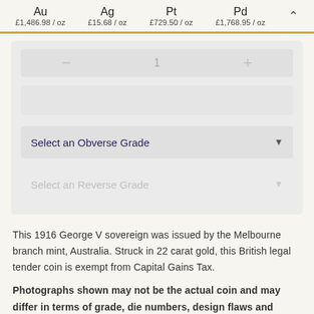Au £1,486.98/oz  Ag £15.68/oz  Pt £729.50/oz  Pd £1,768.95/oz
[Figure (screenshot): Quantity selector widget with minus button, value of 1, and plus button, followed by two dropdown selectors: 'Select an Obverse Grade' (active) and 'Select an Reverse Grade' (inactive/greyed out)]
This 1916 George V sovereign was issued by the Melbourne branch mint, Australia. Struck in 22 carat gold, this British legal tender coin is exempt from Capital Gains Tax.
Photographs shown may not be the actual coin and may differ in terms of grade, die numbers, design flaws and